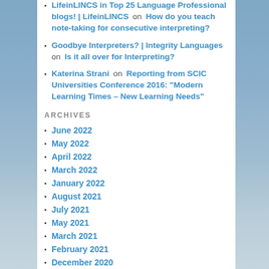LifeinLINCS in Top 25 Language Professional blogs! | LifeinLINCS on How do you teach note-taking for consecutive interpreting?
Goodbye Interpreters? | Integrity Languages on Is it all over for Interpreting?
Katerina Strani on Reporting from SCIC Universities Conference 2016: "Modern Learning Times – New Learning Needs"
ARCHIVES
June 2022
May 2022
April 2022
March 2022
January 2022
August 2021
July 2021
May 2021
March 2021
February 2021
December 2020